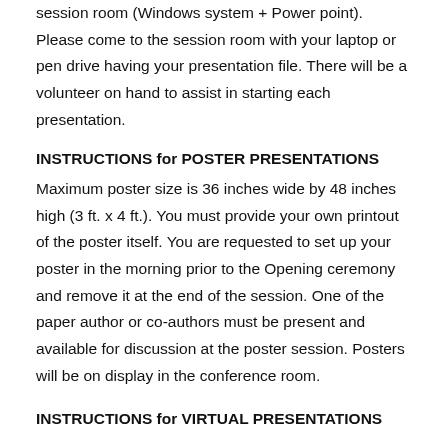session room (Windows system + Power point). Please come to the session room with your laptop or pen drive having your presentation file. There will be a volunteer on hand to assist in starting each presentation.
INSTRUCTIONS for POSTER PRESENTATIONS
Maximum poster size is 36 inches wide by 48 inches high (3 ft. x 4 ft.). You must provide your own printout of the poster itself. You are requested to set up your poster in the morning prior to the Opening ceremony and remove it at the end of the session. One of the paper author or co-authors must be present and available for discussion at the poster session. Posters will be on display in the conference room.
INSTRUCTIONS for VIRTUAL PRESENTATIONS